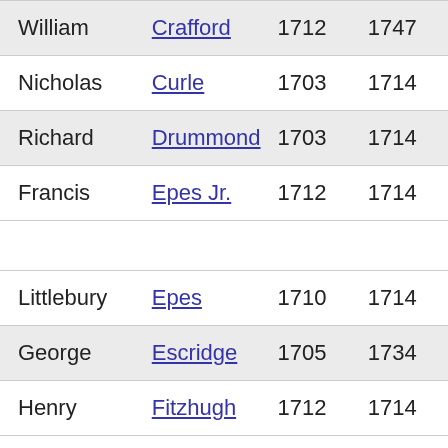| William | Crafford | 1712 | 1747 |
| Nicholas | Curle | 1703 | 1714 |
| Richard | Drummond | 1703 | 1714 |
| Francis | Epes Jr. | 1712 | 1714 |
| Littlebury | Epes | 1710 | 1714 |
| George | Escridge | 1705 | 1734 |
| Henry | Fitzhugh | 1712 | 1714 |
| Charles | Floyd | 1710 | 1718 |